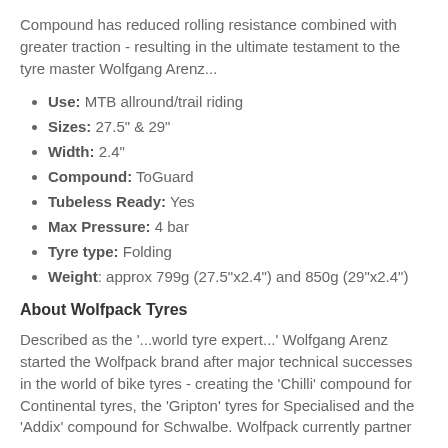Compound has reduced rolling resistance combined with greater traction - resulting in the ultimate testament to the tyre master Wolfgang Arenz...
Use: MTB allround/trail riding
Sizes: 27.5" & 29"
Width: 2.4"
Compound: ToGuard
Tubeless Ready: Yes
Max Pressure: 4 bar
Tyre type: Folding
Weight: approx 799g (27.5"x2.4") and 850g (29"x2.4")
About Wolfpack Tyres
Described as the '...world tyre expert...' Wolfgang Arenz started the Wolfpack brand after major technical successes in the world of bike tyres - creating the 'Chilli' compound for Continental tyres, the 'Gripton' tyres for Specialised and the 'Addix' compound for Schwalbe. Wolfpack currently partner